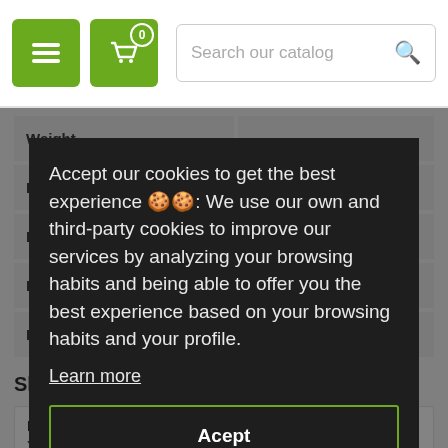Search our catalog
| Attribute | Value |
| --- | --- |
| Weight |  |
| Effective Pixels |  |
| P |  |
| D |  |
| P |  |
Ship
Re
Yo
delivery for a full refund. We'll also pay the return shipping costs if
Accept our cookies to get the best experience 🍪: We use our own and third-party cookies to improve our services by analyzing your browsing habits and being able to offer you the best experience based on your browsing habits and your profile.
Learn more
Acept